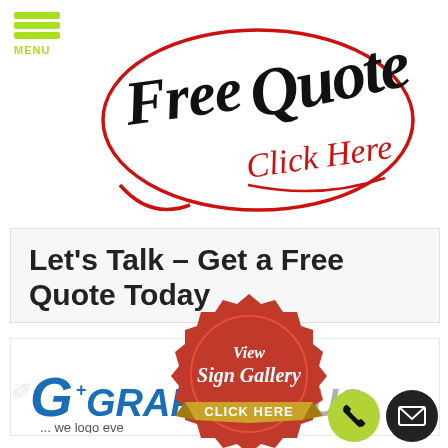[Figure (logo): Hamburger menu icon with three horizontal green bars and MENU label in green]
[Figure (illustration): Handwritten 'Free Quote' in black cursive with red oval circle around it, and 'Click Here' in red cursive handwriting below]
Let's Talk – Get a Free Quote Today
[Figure (illustration): Red wax seal badge with gold ribbon banner. Text reads 'View Sign Gallery' in white cursive and 'CLICK HERE' on gold banner]
[Figure (logo): GrafxPlus logo with stylized G icon and 'GRAFX' in blue bold italic and 'PLUS' in grey, tagline '... we logo everything']
[Figure (illustration): Green circle phone button and dark envelope/mail button in bottom right corner]